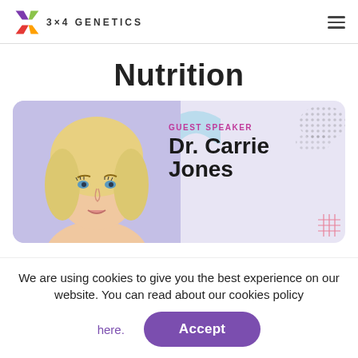3X4 GENETICS
Nutrition
[Figure (photo): Guest speaker card with photo of Dr. Carrie Jones (blonde woman), purple/lavender background with decorative dots and arc, text says GUEST SPEAKER Dr. Carrie Jones]
We are using cookies to give you the best experience on our website. You can read about our cookies policy here.
Accept